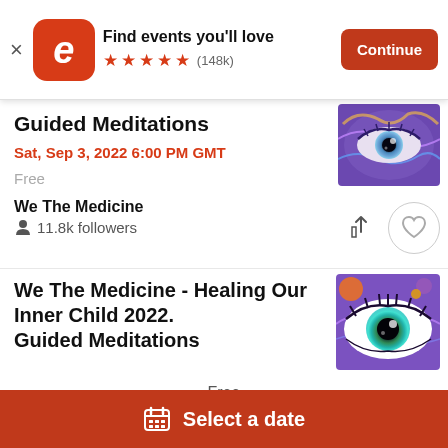Find events you'll love ★★★★★ (148k) Continue
Guided Meditations
Sat, Sep 3, 2022 6:00 PM GMT
Free
We The Medicine
11.8k followers
We The Medicine - Healing Our Inner Child 2022. Guided Meditations
Free
Select a date